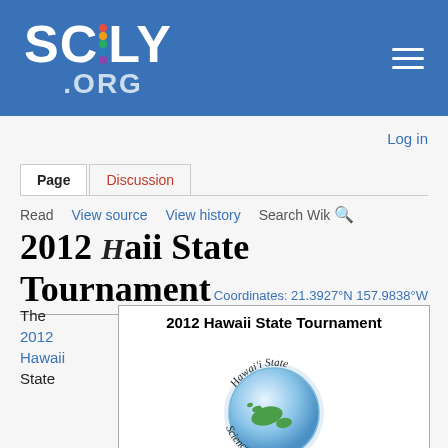[Figure (logo): Scioly.org logo — white bold text 'SCIOLY' with colored dot and '.ORG' subtitle on blue background, with hamburger menu icon on right]
Log in
Page  Discussion
Read  View source  View history  Search Wik
2012 Hawaii State Tournament
Coordinates: 21.3927°N 157.9838°W
The 2012 Hawaii State
| 2012 Hawaii State Tournament |
| --- |
| [Hawaii State Science Olympiad logo] |
| General Information |
| Map | [map image] |